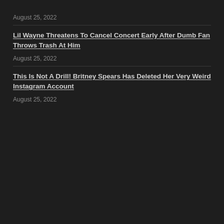August 25, 2022
Lil Wayne Threatens To Cancel Concert Early After Dumb Fan Throws Trash At Him
August 25, 2022
This Is Not A Drill! Britney Spears Has Deleted Her Very Weird Instagram Account
August 25, 2022